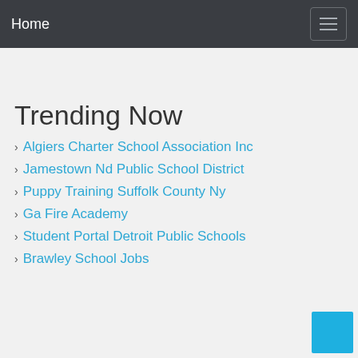Home
Trending Now
Algiers Charter School Association Inc
Jamestown Nd Public School District
Puppy Training Suffolk County Ny
Ga Fire Academy
Student Portal Detroit Public Schools
Brawley School Jobs